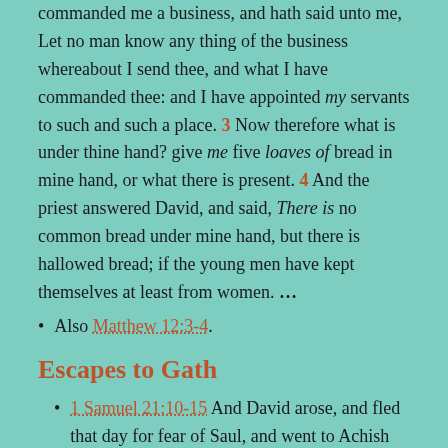commanded me a business, and hath said unto me, Let no man know any thing of the business whereabout I send thee, and what I have commanded thee: and I have appointed my servants to such and such a place. 3 Now therefore what is under thine hand? give me five loaves of bread in mine hand, or what there is present. 4 And the priest answered David, and said, There is no common bread under mine hand, but there is hallowed bread; if the young men have kept themselves at least from women. ...
Also Matthew 12:3-4.
Escapes to Gath
1 Samuel 21:10-15 And David arose, and fled that day for fear of Saul, and went to Achish the king of Gath. 11 And the servants of Achish said unto him, Is